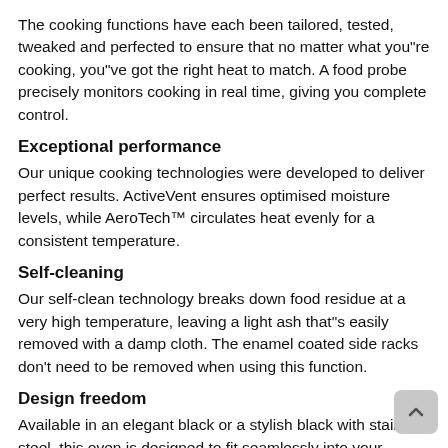The cooking functions have each been tailored, tested, tweaked and perfected to ensure that no matter what you"re cooking, you"ve got the right heat to match. A food probe precisely monitors cooking in real time, giving you complete control.
Exceptional performance
Our unique cooking technologies were developed to deliver perfect results. ActiveVent ensures optimised moisture levels, while AeroTech™ circulates heat evenly for a consistent temperature.
Self-cleaning
Our self-clean technology breaks down food residue at a very high temperature, leaving a light ash that"s easily removed with a damp cloth. The enamel coated side racks don't need to be removed when using this function.
Design freedom
Available in an elegant black or a stylish black with stainless steel, this oven is designed to fit seamlessly into your kitchen. Premium materials